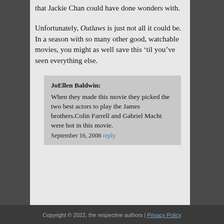that Jackie Chan could have done wonders with.
Unfortunately, Outlaws is just not all it could be. In a season with so many other good, watchable movies, you might as well save this ‘til you’ve seen everything else.
JoEllen Baldwin: When they made this movie they picked the two best actors to play the James brothers.Colin Farrell and Gabriel Macht were hot in this movie. September 16, 2008 reply
Copyright © 2022, the respective authors | Privacy Policy